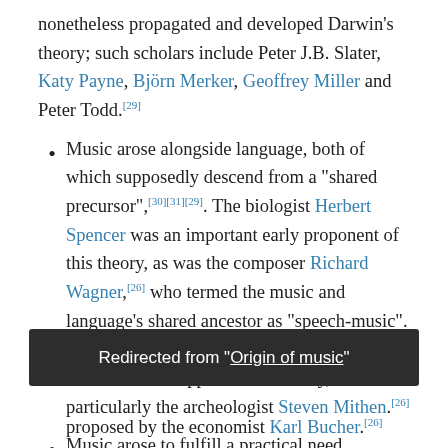nonetheless propagated and developed Darwin's theory; such scholars include Peter J.B. Slater, Katy Payne, Björn Merker, Geoffrey Miller and Peter Todd.[29]
Music arose alongside language, both of which supposedly descend from a "shared precursor",[30][31][29]. The biologist Herbert Spencer was an important early proponent of this theory, as was the composer Richard Wagner,[26] who termed the music and language's shared ancestor as "speech-music".[12] Since the 21st-century, a number of scholars have supported this theory, particularly the archeologist Steven Mithen.[26]
Music arose to fulfill a practical need. Propositions include:
Redirected from "Origin of music"
proposed by the economist Karl Bucher.[26]